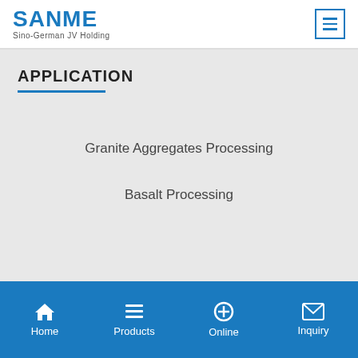SANME Sino-German JV Holding
APPLICATION
Granite Aggregates Processing
Basalt Processing
Home | Products | Online | Inquiry